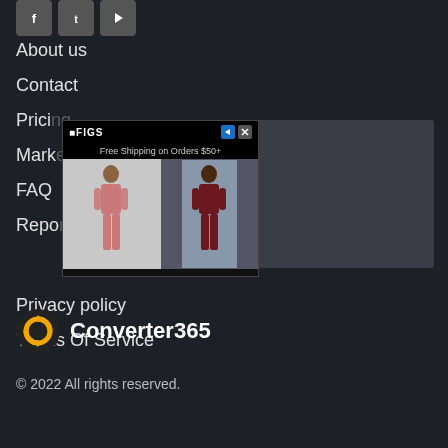[Figure (other): Social media icons: Facebook, Twitter, YouTube]
About us
Contact
Pricing
Marketing
FAQ
Report
[Figure (other): FIGS advertisement: Free Shipping on Orders $50+, showing two models in scrubs/medical clothing]
[Figure (other): Gray placeholder box (advertisement or image placeholder)]
Privacy policy
Terms Of Service
[Figure (logo): Converter365 logo: circular arrows icon in gold/yellow with white text 'Converter365']
© 2022 All rights reserved.